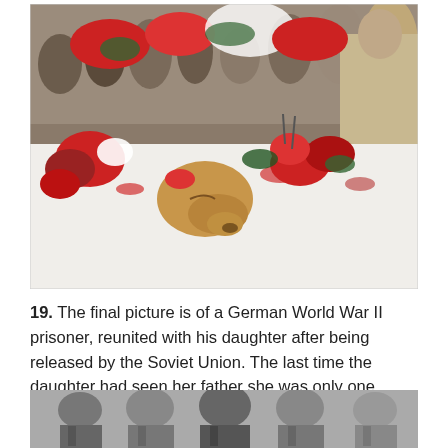[Figure (photo): A dog lying on a flower-covered funeral bier surrounded by red roses and white cloth, with people including a police officer standing around it holding flowers.]
19. The final picture is of a German World War II prisoner, reunited with his daughter after being released by the Soviet Union. The last time the daughter had seen her father she was only one years old.
[Figure (photo): Black and white photograph of several men in suits, appearing to be a historical reunion or group scene.]